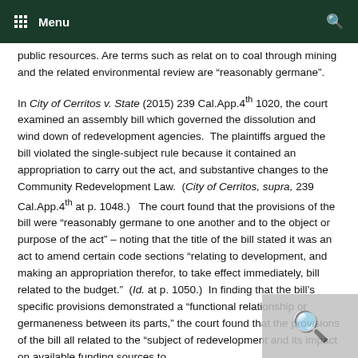Menu
public resources. Are terms such as relat on to coal through mining and the related environmental review are “reasonably germane”.
In City of Cerritos v. State (2015) 239 Cal.App.4th 1020, the court examined an assembly bill which governed the dissolution and wind down of redevelopment agencies. The plaintiffs argued the bill violated the single-subject rule because it contained an appropriation to carry out the act, and substantive changes to the Community Redevelopment Law. (City of Cerritos, supra, 239 Cal.App.4th at p. 1048.) The court found that the provisions of the bill were “reasonably germane to one another and to the object or purpose of the act” – noting that the title of the bill stated it was an act to amend certain code sections “relating to development, and making an appropriation therefor, to take effect immediately, bill related to the budget.” (Id. at p. 1050.) In finding that the bill’s specific provisions demonstrated a “functional relationship or germaneness between its parts,” the court found that the provisions of the bill all related to the “subject of redevelopment and its impact on available funding sources to